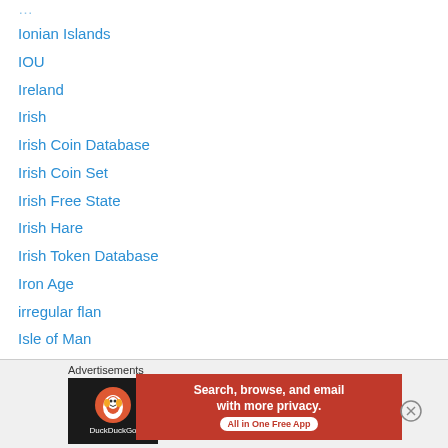Ionian Islands
IOU
Ireland
Irish
Irish Coin Database
Irish Coin Set
Irish Free State
Irish Hare
Irish Token Database
Iron Age
irregular flan
Isle of Man
Jacobite
James I
James II
John as King of Ireland
Advertisements
[Figure (other): DuckDuckGo advertisement banner: Search, browse, and email with more privacy. All in One Free App]